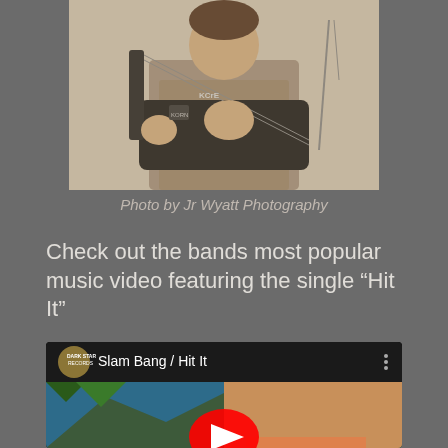[Figure (photo): A guitarist playing an electric guitar, black and white/sepia photo, wearing a KoRn or similar band shirt, guitar has decorative stickers, microphone stand visible in background]
Photo by Jr Wyatt Photography
Check out the bands most popular music video featuring the single “Hit It”
[Figure (screenshot): YouTube video embed showing 'Slam Bang / Hit It' with a Dark Star Records logo avatar, video thumbnail showing a woman in a bikini with tropical background, red YouTube play button in center]